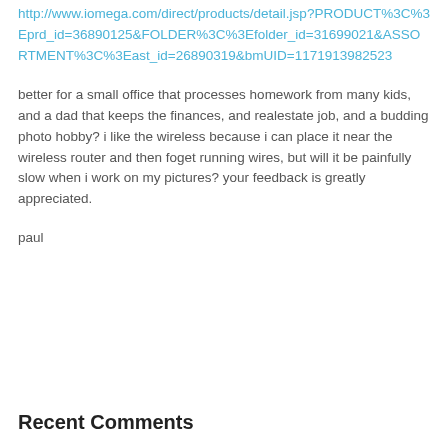http://www.iomega.com/direct/products/detail.jsp?PRODUCT%3C%3Eprd_id=36890125&FOLDER%3C%3Efolder_id=31699021&ASSORTMENT%3C%3East_id=26890319&bmUID=1171913982523
better for a small office that processes homework from many kids, and a dad that keeps the finances, and realestate job, and a budding photo hobby? i like the wireless because i can place it near the wireless router and then foget running wires, but will it be painfully slow when i work on my pictures? your feedback is greatly appreciated.
paul
Recent Comments